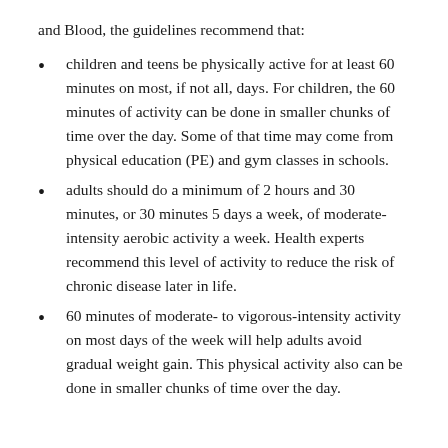and Blood, the guidelines recommend that:
children and teens be physically active for at least 60 minutes on most, if not all, days. For children, the 60 minutes of activity can be done in smaller chunks of time over the day. Some of that time may come from physical education (PE) and gym classes in schools.
adults should do a minimum of 2 hours and 30 minutes, or 30 minutes 5 days a week, of moderate-intensity aerobic activity a week. Health experts recommend this level of activity to reduce the risk of chronic disease later in life.
60 minutes of moderate- to vigorous-intensity activity on most days of the week will help adults avoid gradual weight gain. This physical activity also can be done in smaller chunks of time over the day.